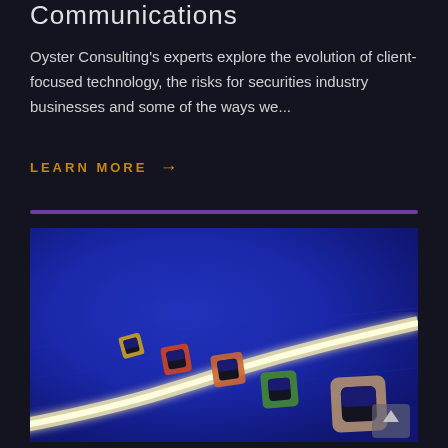Communications
Oyster Consulting's experts explore the evolution of client-focused technology, the risks for securities industry businesses and some of the ways we...
LEARN MORE →
[Figure (photo): Colorful square bracket-shaped blocks arranged along a glowing white path on a blue surface, representing a journey or pathway concept.]